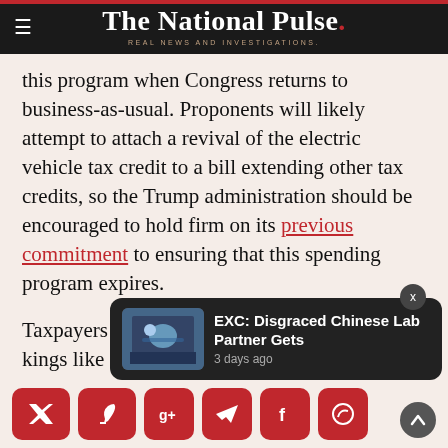The National Pulse. REAL NEWS AND INVESTIGATIONS.
this program when Congress returns to business-as-usual. Proponents will likely attempt to attach a revival of the electric vehicle tax credit to a bill extending other tax credits, so the Trump administration should be encouraged to hold firm on its previous commitment to ensuring that this spending program expires.
Taxpayers shouldn't have to subsidize welfare kings like Elon Musk. Let's turn the lights out on this tax credit.
Author's note: R…